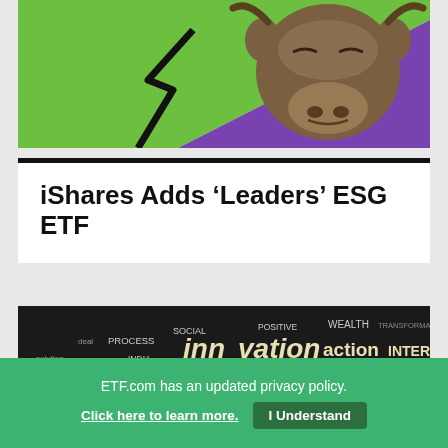[Figure (illustration): Cartoon bull illustration on a green and purple diagonal split background]
iShares Adds ‘Leaders’ ESG ETF
[Figure (illustration): Word cloud on dark background featuring finance and emerging markets terms: SOCIAL, POSITIVE, WEALTH, TRANSFORMATION, deal, PROCESS, innovation, actionINTERNATIONAL, INDIA, SOURCES, business, country, solution, GROWTH, RISK, CHINA, WORLD, economic, DATA, INCOME, PROFIT, EMERGING]
ETF.com has an updated privacy policy.
Click here to learn more.
I Understand